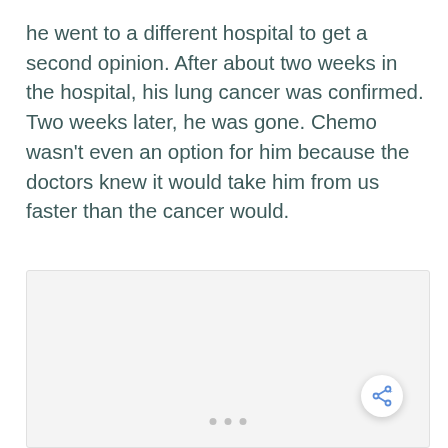he went to a different hospital to get a second opinion. After about two weeks in the hospital, his lung cancer was confirmed. Two weeks later, he was gone. Chemo wasn't even an option for him because the doctors knew it would take him from us faster than the cancer would.
[Figure (other): A light gray placeholder image box with three small gray dots at the bottom center and a share button (circle with share icon) at the bottom right corner.]